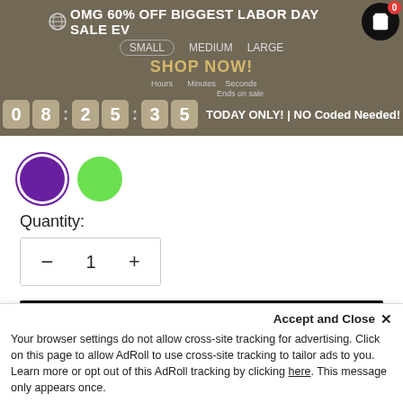[Figure (screenshot): E-commerce promotional banner overlay showing sale announcement, countdown timer, and shopping cart icon]
[Figure (illustration): Two color option circles: purple (selected, with border) and green]
Quantity:
[Figure (other): Quantity selector with minus button, number 1, and plus button in a bordered box]
ADD TO CART
Pay in 4 interest-free installments for orders over $50 with
shopPay  Learn more
Accept and Close ×
Your browser settings do not allow cross-site tracking for advertising. Click on this page to allow AdRoll to use cross-site tracking to tailor ads to you. Learn more or opt out of this AdRoll tracking by clicking here. This message only appears once.